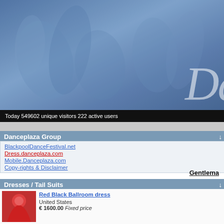[Figure (photo): Blue-tinted banner with dancing couple silhouettes and stylized 'Da' text in italic script on the right]
Today 549602 unique visitors 222 active users
Danceplaza Group
BlackpoolDanceFestival.net
Dress.danceplaza.com
Mobile.Danceplaza.com
Copy-rights & Disclaimer
Dresses / Tail Suits
Red Black Ballroom dress
United States
€ 1600.00 Fixed price
Velvet Tiger Ballroom Dance Dress
Slovakia
€ 650.00 Negotiable
ATELIER ELLA BALLROOM DRESS FOR SALE!!!!
Poland
€ 1750.00 Negotiable
Great Latin Dress
United States
€ 1000.00 Negotiable
Bright and Elegant dress!!
Russia
Daniil Nesterov
| Field | : | Value |
| --- | --- | --- |
| Name | : | Daniil Nesterov |
| City | : | Not available |
| Country | : | Not available |
| Age | : | Not available |
| Occupation | : | Not available |
| Hobbies | : | Not available |
| Favourite dance | : | Not available |